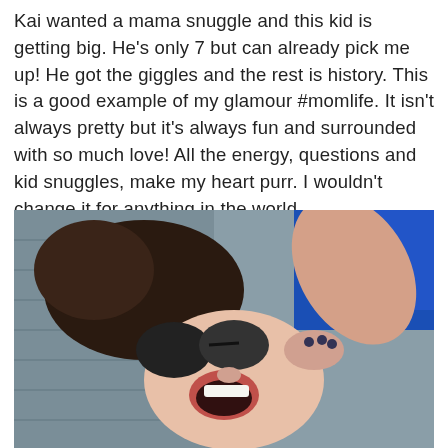Kai wanted a mama snuggle and this kid is getting big. He's only 7 but can already pick me up! He got the giggles and the rest is history. This is a good example of my glamour #momlife. It isn't always pretty but it's always fun and surrounded with so much love! All the energy, questions and kid snuggles, make my heart purr. I wouldn't change it for anything in the world.
[Figure (photo): A woman lying on her back laughing, wearing sunglasses pushed up on her face, with a child's arm/foot playfully placed on her face. The woman appears to be outdoors on a wooden deck. A blue shirt is visible in the upper right corner.]